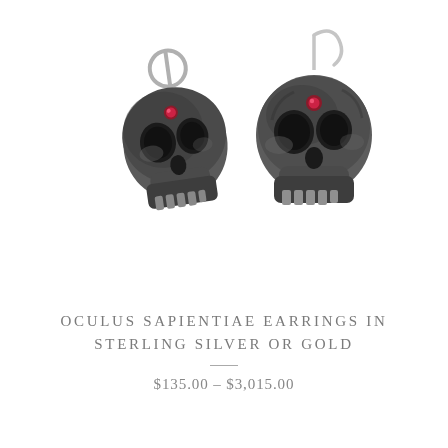[Figure (photo): Two sterling silver skull earrings with small red gemstone eyes, photographed on a white background. The skulls have oxidized dark silver finish with detailed bone texture. Each skull hangs from a silver wire hook.]
OCULUS SAPIENTIAE EARRINGS IN STERLING SILVER OR GOLD
$135.00 - $3,015.00